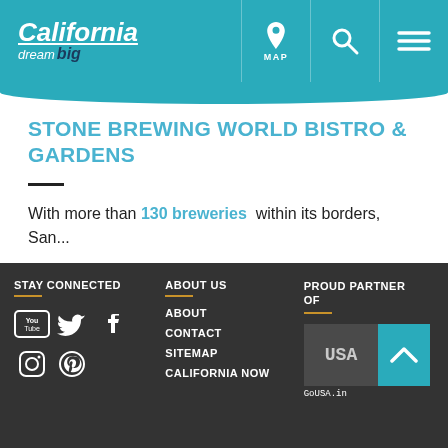California Dream Big — MAP, Search, Menu
STONE BREWING WORLD BISTRO & GARDENS
With more than 130 breweries within its borders, San...
READ MORE
STAY CONNECTED | ABOUT US | PROUD PARTNER OF | Social icons: YouTube, Twitter, Facebook, Instagram, Pinterest | ABOUT | CONTACT | SITEMAP | CALIFORNIA NOW | GoUSA.in